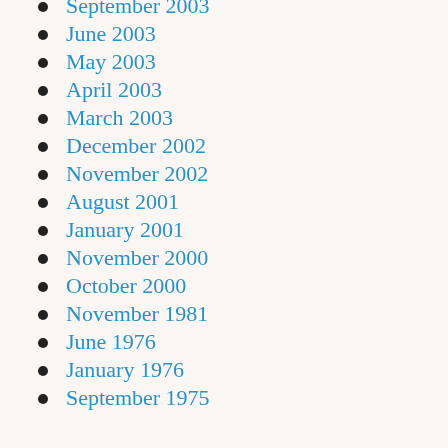September 2003
June 2003
May 2003
April 2003
March 2003
December 2002
November 2002
August 2001
January 2001
November 2000
October 2000
November 1981
June 1976
January 1976
September 1975